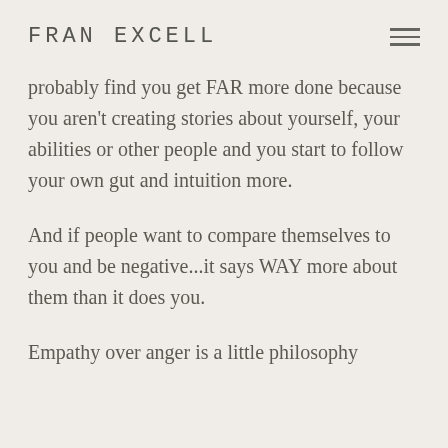FRAN EXCELL
probably find you get FAR more done because you aren't creating stories about yourself, your abilities or other people and you start to follow your own gut and intuition more.
And if people want to compare themselves to you and be negative...it says WAY more about them than it does you.
Empathy over anger is a little philosophy